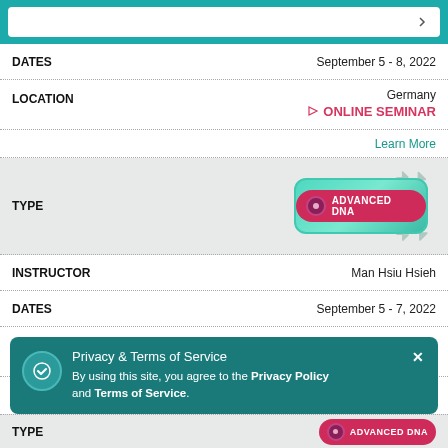[Figure (screenshot): Search/dropdown bar at top of page with teal background]
| Field | Value |
| --- | --- |
| DATES | September 5 - 8, 2022 |
| LOCATION | Germany / ONLINE SEMINAR |
|  | Learn More |
| TYPE | ADVANCED DNA badge |
| INSTRUCTOR | Man Hsiu Hsieh |
| DATES | September 5 - 7, 2022 |
| LOCATION | Taiwan, Republic of China / ONLINE SEMINAR |
| TYPE | ADVANCED DNA badge |
Privacy & Terms of Service
By using this site, you agree to the Privacy Policy and Terms of Service.